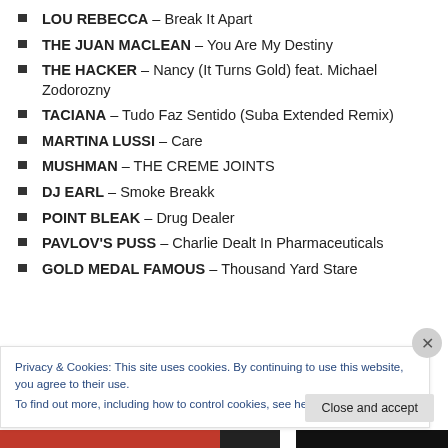LOU REBECCA – Break It Apart
THE JUAN MACLEAN – You Are My Destiny
THE HACKER – Nancy (It Turns Gold) feat. Michael Zodorozny
TACIANA – Tudo Faz Sentido (Suba Extended Remix)
MARTINA LUSSI – Care
MUSHMAN – THE CREME JOINTS
DJ EARL – Smoke Breakk
POINT BLEAK – Drug Dealer
PAVLOV'S PUSS – Charlie Dealt In Pharmaceuticals
GOLD MEDAL FAMOUS – Thousand Yard Stare
Privacy & Cookies: This site uses cookies. By continuing to use this website, you agree to their use.
To find out more, including how to control cookies, see here: Cookie Policy